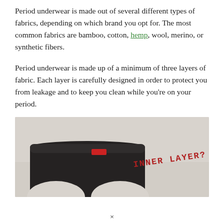Period underwear is made out of several different types of fabrics, depending on which brand you opt for. The most common fabrics are bamboo, cotton, hemp, wool, merino, or synthetic fibers.
Period underwear is made up of a minimum of three layers of fabric. Each layer is carefully designed in order to protect you from leakage and to keep you clean while you're on your period.
[Figure (photo): Photo of dark/black period underwear laid flat on a light grey surface, with the text 'INNER LAYER?' written in red handwritten-style letters to the right of the garment. A small red tag is visible at the waistband.]
×